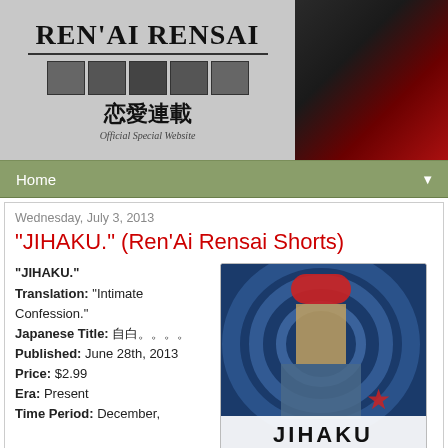[Figure (illustration): Ren'Ai Rensai website header banner with logo text, Japanese characters 恋愛連載, manga thumbnails, and a couple photo on the right]
Home ▼
Wednesday, July 3, 2013
"JIHAKU." (Ren'Ai Rensai Shorts)
"JIHAKU."
Translation: "Intimate Confession."
Japanese Title: 自白。。。。
Published: June 28th, 2013
Price: $2.99
Era: Present
Time Period: December,
[Figure (photo): Book cover for JIHAKU showing a woman in a red top against a blue swirling background with the title JIHAKU at the bottom]